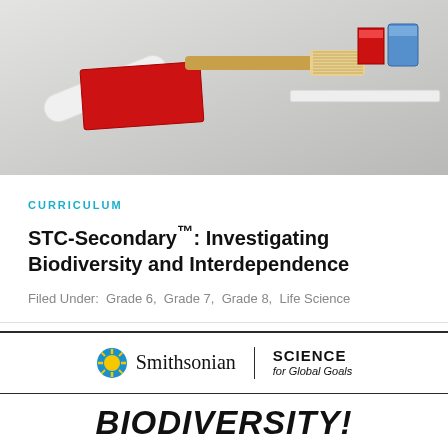[Figure (photo): Photo of school/art supplies including a white tube, red flat item, brush, and small boxes arranged on a gray background]
CURRICULUM
STC-Secondary™: Investigating Biodiversity and Interdependence
Filed Under: Grade 6, Grade 7, Grade 8, Life Science
[Figure (logo): Smithsonian Science for Global Goals logo with sun icon on left, vertical divider, and SCIENCE for Global Goals text on right]
BIODIVERSITY!
How can we balance the needs of people with the